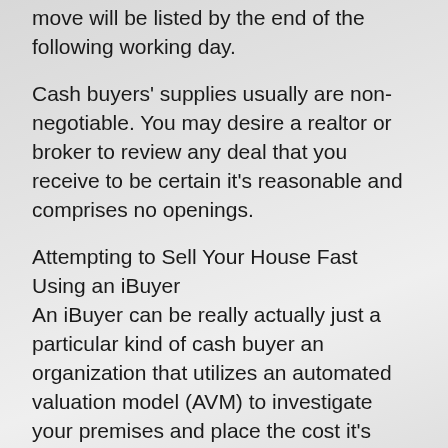move will be listed by the end of the following working day.
Cash buyers' supplies usually are non-negotiable. You may desire a realtor or broker to review any deal that you receive to be certain it's reasonable and comprises no openings.
Attempting to Sell Your House Fast Using an iBuyer
An iBuyer can be really actually just a particular kind of cash buyer an organization that utilizes an automated valuation model (AVM) to investigate your premises and place the cost it's willing to pay for.
Using an iBuyer, you merely say, “that I desire to offer my house fast. On line quotation, please”